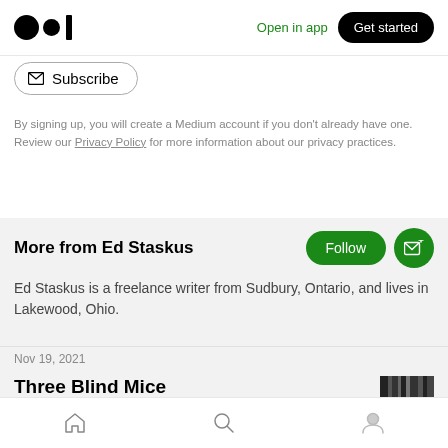Medium logo | Open in app | Get started
[Figure (screenshot): Subscribe button with envelope icon]
By signing up, you will create a Medium account if you don't already have one. Review our Privacy Policy for more information about our privacy practices.
More from Ed Staskus
Ed Staskus is a freelance writer from Sudbury, Ontario, and lives in Lakewood, Ohio.
Nov 19, 2021
Three Blind Mice
Home | Search | Profile